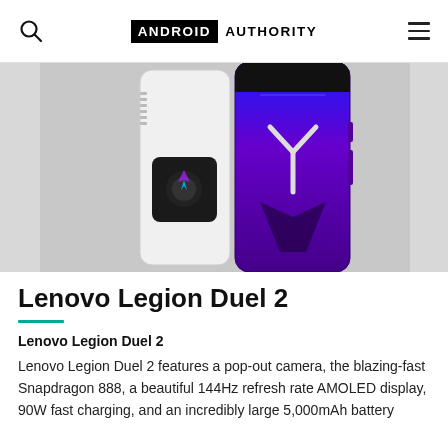ANDROID AUTHORITY
[Figure (photo): Lenovo Legion Phone Duel 2 shown from the back — one white/transparent variant and one purple/blue gaming variant with Y-shaped logo, placed side by side against a light grey background]
Lenovo Legion Duel 2
Lenovo Legion Duel 2
Lenovo Legion Duel 2 features a pop-out camera, the blazing-fast Snapdragon 888, a beautiful 144Hz refresh rate AMOLED display, 90W fast charging, and an incredibly large 5,000mAh battery